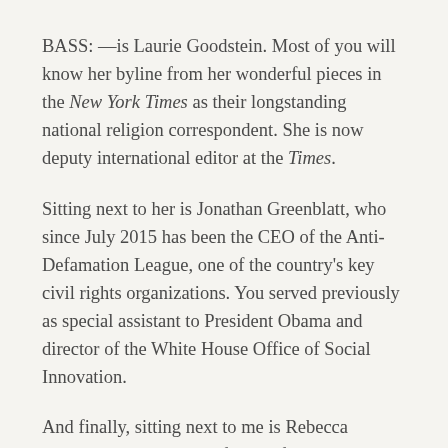BASS: —is Laurie Goodstein. Most of you will know her byline from her wonderful pieces in the New York Times as their longstanding national religion correspondent. She is now deputy international editor at the Times.
Sitting next to her is Jonathan Greenblatt, who since July 2015 has been the CEO of the Anti-Defamation League, one of the country's key civil rights organizations. You served previously as special assistant to President Obama and director of the White House Office of Social Innovation.
And finally, sitting next to me is Rebecca Kobrin, an associate professor of American Jewish History in